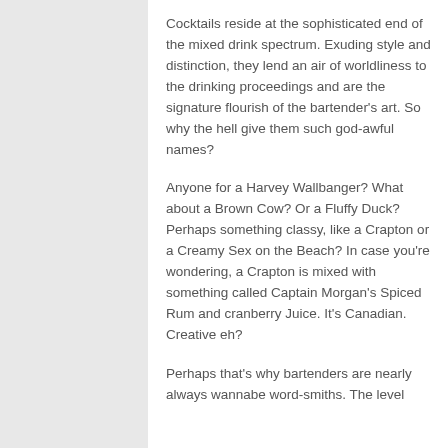Cocktails reside at the sophisticated end of the mixed drink spectrum. Exuding style and distinction, they lend an air of worldliness to the drinking proceedings and are the signature flourish of the bartender's art. So why the hell give them such god-awful names?
Anyone for a Harvey Wallbanger? What about a Brown Cow? Or a Fluffy Duck? Perhaps something classy, like a Crapton or a Creamy Sex on the Beach? In case you're wondering, a Crapton is mixed with something called Captain Morgan's Spiced Rum and cranberry Juice. It's Canadian. Creative eh?
Perhaps that's why bartenders are nearly always wannabe word-smiths. The level of linguistic skill that goes into the...